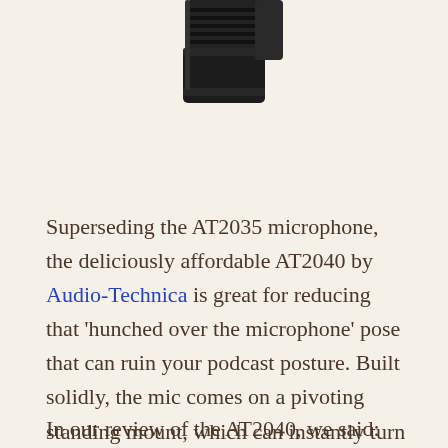[Figure (photo): Close-up photo of a dark/black microphone (Audio-Technica AT2040) showing the top portion of the mic body against a light beige background]
Superseding the AT2035 microphone, the deliciously affordable AT2040 by Audio-Technica is great for reducing that ‘hunched over the microphone’ pose that can ruin your podcast posture. Built solidly, the mic comes on a pivoting standing mount, which can instantly turn your bedroom into a professional radio studio.
In our review of the AT2040, we said: “This is a